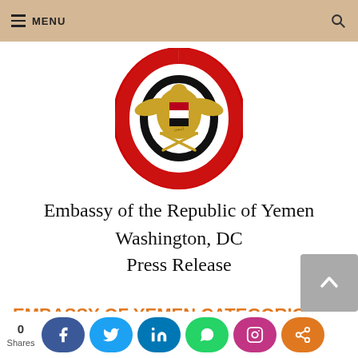MENU
[Figure (logo): Emblem of the Republic of Yemen — circular design with red, white, black horizontal stripes forming an oval border, golden eagle/shield with Arabic inscription at center, crossed swords at bottom]
Embassy of the Republic of Yemen
Washington, DC
Press Release
EMBASSY OF YEMEN CATEGORICALLY DENOUNCES HOUTHI TERRORISM IN ADEN
[Figure (infographic): Social share bar with 0 Shares label, followed by Facebook (blue), Twitter (light blue), LinkedIn (dark blue), WhatsApp (green), Instagram (pink/purple), and Share (orange) buttons]